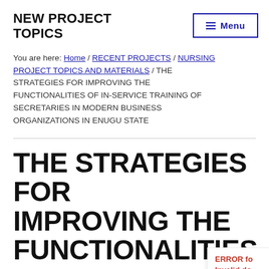NEW PROJECT TOPICS
Menu
You are here: Home / RECENT PROJECTS / NURSING PROJECT TOPICS AND MATERIALS / THE STRATEGIES FOR IMPROVING THE FUNCTIONALITIES OF IN-SERVICE TRAINING OF SECRETARIES IN MODERN BUSINESS ORGANIZATIONS IN ENUGU STATE
THE STRATEGIES FOR IMPROVING THE FUNCTIONALITIES OF